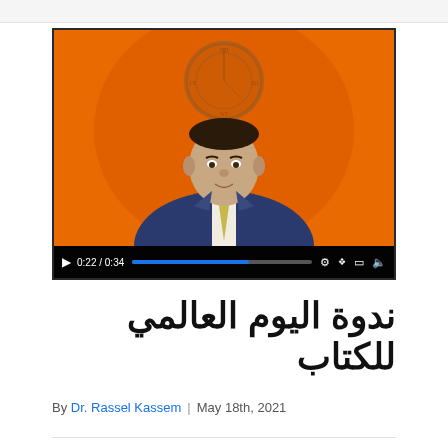[Figure (screenshot): Video screenshot showing a man in a navy suit and yellow tie seated in front of an orange background with a decorative wall clock. Video player controls show 0:22/0:34 with a blue progress bar.]
ندوة اليوم العالمي للكتاب
By Dr. Rassel Kassem | May 18th, 2021